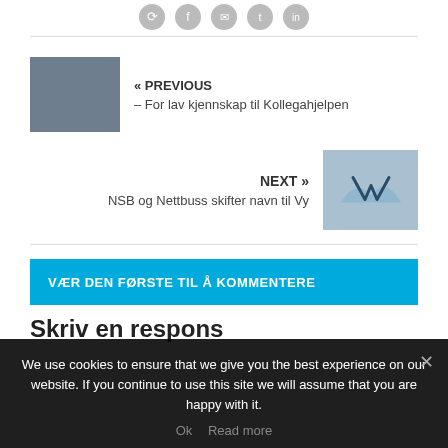[Figure (other): Social media share icons row at top]
« PREVIOUS – For lav kjennskap til Kollegahjelpen
NEXT » NSB og Nettbuss skifter navn til Vy
VÆR DEN FØRSTE TIL Å KOMMENTERE
Skriv en respons
We use cookies to ensure that we give you the best experience on our website. If you continue to use this site we will assume that you are happy with it.
Ok  Read more